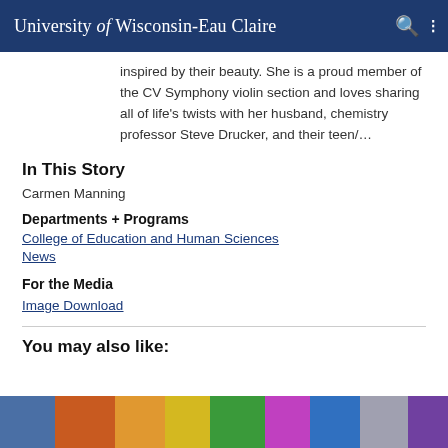University of Wisconsin-Eau Claire
inspired by their beauty. She is a proud member of the CV Symphony violin section and loves sharing all of life's twists with her husband, chemistry professor Steve Drucker, and their teen/…
In This Story
Carmen Manning
Departments + Programs
College of Education and Human Sciences
News
For the Media
Image Download
You may also like:
[Figure (photo): Colorful crowd photo, partially visible at bottom of page]